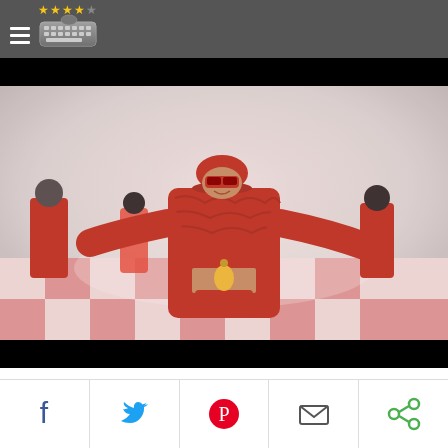★★★★☆ [keyboard icon]
[Figure (screenshot): Video thumbnail of Lil' Kim ft. Lil' Cease - Crush On You music video. Shows a performer in a full red outfit including red furry jacket, red mask, and red hat on a red and white checkered floor, with backup dancers dressed in red around her.]
Lil' Kim ft. Lil' Cease - Crush On You (Official Video)
Category: Music
Duration: 00:03:51
[Figure (infographic): Social sharing bar with icons for Facebook, Twitter, Pinterest, Email, and Share (green).]